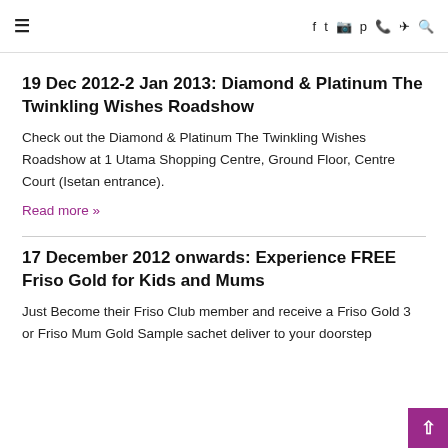≡  f  twitter  instagram  pinterest  whatsapp  telegram  search
19 Dec 2012-2 Jan 2013: Diamond & Platinum The Twinkling Wishes Roadshow
Check out the Diamond & Platinum The Twinkling Wishes Roadshow at 1 Utama Shopping Centre, Ground Floor, Centre Court (Isetan entrance).
Read more »
17 December 2012 onwards: Experience FREE Friso Gold for Kids and Mums
Just Become their Friso Club member and receive a Friso Gold 3 or Friso Mum Gold Sample sachet deliver to your doorstep